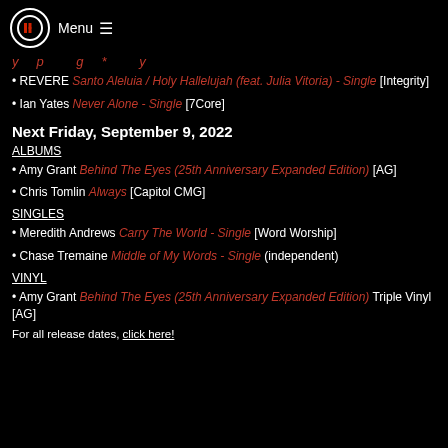Menu ≡
(partial line, cut off at top)
REVERE Santo Aleluia / Holy Hallelujah (feat. Julia Vitoria) - Single [Integrity]
Ian Yates Never Alone - Single [7Core]
Next Friday, September 9, 2022
ALBUMS
Amy Grant Behind The Eyes (25th Anniversary Expanded Edition) [AG]
Chris Tomlin Always [Capitol CMG]
SINGLES
Meredith Andrews Carry The World - Single [Word Worship]
Chase Tremaine Middle of My Words - Single (independent)
VINYL
Amy Grant Behind The Eyes (25th Anniversary Expanded Edition) Triple Vinyl [AG]
For all release dates, click here!